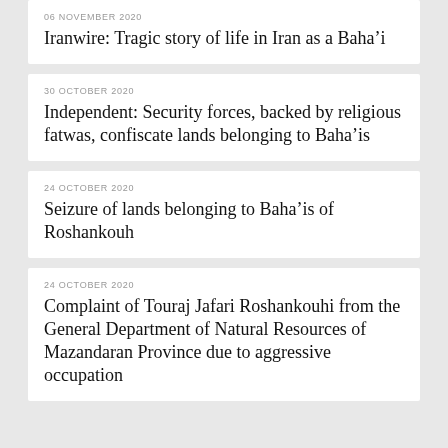06 NOVEMBER 2020
Iranwire: Tragic story of life in Iran as a Baha’i
30 OCTOBER 2020
Independent: Security forces, backed by religious fatwas, confiscate lands belonging to Baha’is
24 OCTOBER 2020
Seizure of lands belonging to Baha’is of Roshankouh
24 OCTOBER 2020
Complaint of Touraj Jafari Roshankouhi from the General Department of Natural Resources of Mazandaran Province due to aggressive occupation